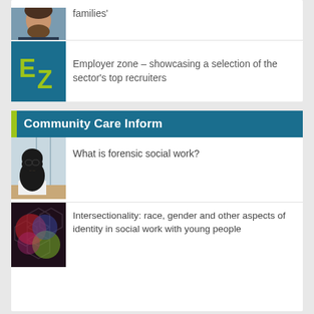[Figure (other): Card with a photo of a bearded man and EZ employer zone logo]
families'
Employer zone – showcasing a selection of the sector's top recruiters
Community Care Inform
[Figure (photo): Woman in hijab studying at a desk]
What is forensic social work?
[Figure (photo): Abstract hexagonal pattern with colourful overlapping circles]
Intersectionality: race, gender and other aspects of identity in social work with young people